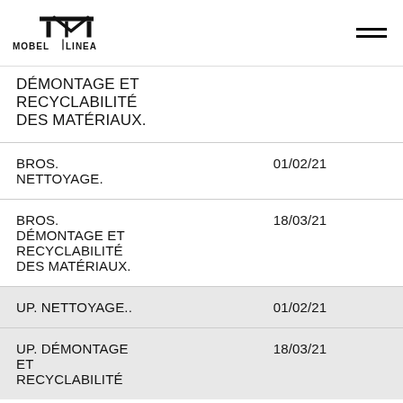MOBEL LINEA
| DÉMONTAGE ET RECYCLABILITÉ DES MATÉRIAUX. |  |
| BROS. NETTOYAGE. | 01/02/21 |
| BROS. DÉMONTAGE ET RECYCLABILITÉ DES MATÉRIAUX. | 18/03/21 |
| UP. NETTOYAGE.. | 01/02/21 |
| UP. DÉMONTAGE ET RECYCLABILITÉ DES MATÉRIAUX. | 18/03/21 |